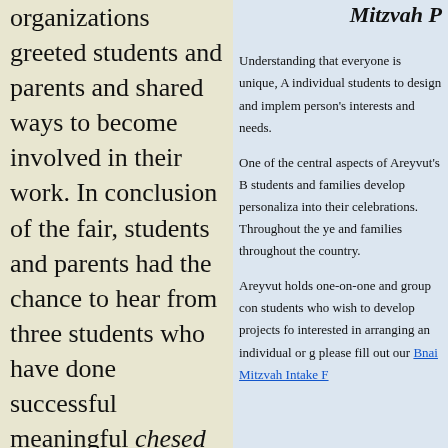organizations greeted students and parents and shared ways to become involved in their work. In conclusion of the fair, students and parents had the chance to hear from three students who have done successful meaningful chesed projects of their own.

If you are interested in arranging a Bnai
Mitzvah P
Understanding that everyone is unique, A individual students to design and implem person's interests and needs.

One of the central aspects of Areyvut's B students and families develop personaliza into their celebrations. Throughout the ye and families throughout the country.

Areyvut holds one-on-one and group con students who wish to develop projects fo interested in arranging an individual or g please fill out our Bnai Mitzvah Intake F